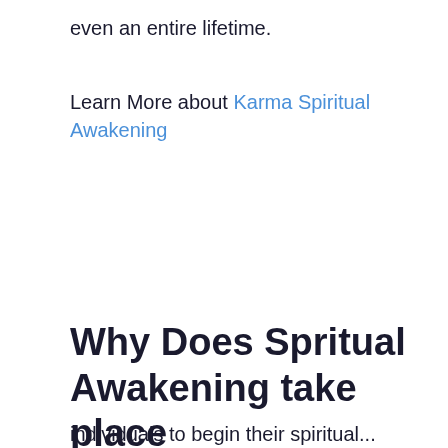even an entire lifetime.
Learn More about Karma Spiritual Awakening
Why Does Spritual Awakening take place
individuals to begin their spiritual...